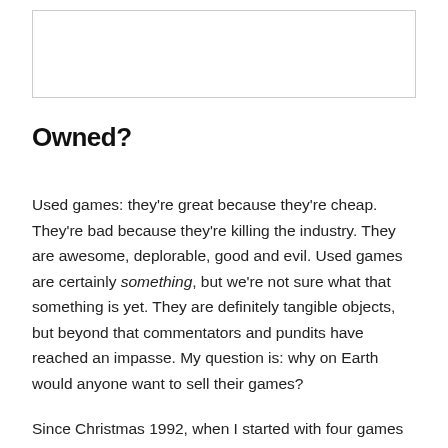[Figure (other): White rectangular image box with border at top of page]
Owned?
Used games: they're great because they're cheap. They're bad because they're killing the industry. They are awesome, deplorable, good and evil. Used games are certainly something, but we're not sure what that something is yet. They are definitely tangible objects, but beyond that commentators and pundits have reached an impasse. My question is: why on Earth would anyone want to sell their games?
Since Christmas 1992, when I started with four games